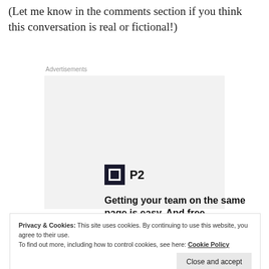(Let me know in the comments section if you think this conversation is real or fictional!)
Advertisements
[Figure (infographic): P2 advertisement: logo with black square and P2 text, headline 'Getting your team on the same page is easy. And free.' with three circular avatar photos and a blue plus button.]
Privacy & Cookies: This site uses cookies. By continuing to use this website, you agree to their use.
To find out more, including how to control cookies, see here: Cookie Policy